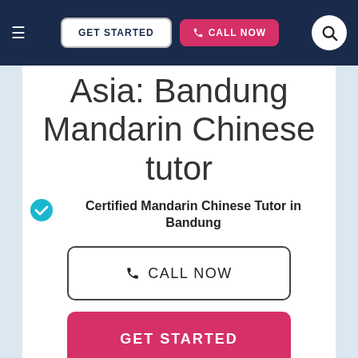GET STARTED | CALL NOW
Asia: Bandung Mandarin Chinese tutor
Certified Mandarin Chinese Tutor in Bandung
CALL NOW
GET STARTED
…graduate of the University of Chicago where I received my undergraduate degree in political science. Right after graduation, I